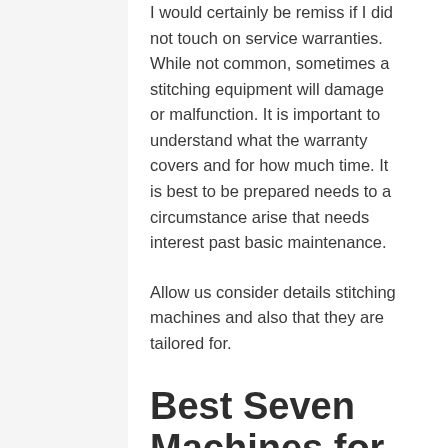I would certainly be remiss if I did not touch on service warranties. While not common, sometimes a stitching equipment will damage or malfunction. It is important to understand what the warranty covers and for how much time. It is best to be prepared needs to a circumstance arise that needs interest past basic maintenance.
Allow us consider details stitching machines and also that they are tailored for.
Best Seven Machines for Sewing
Let us look at  certain sewing  devices an